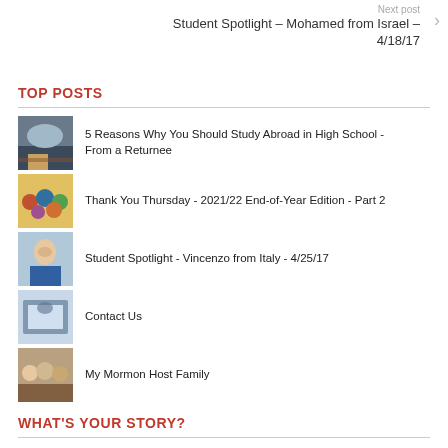Next post
Student Spotlight – Mohamed from Israel – 4/18/17
TOP POSTS
5 Reasons Why You Should Study Abroad in High School - From a Returnee
Thank You Thursday - 2021/22 End-of-Year Edition - Part 2
Student Spotlight - Vincenzo from Italy - 4/25/17
Contact Us
My Mormon Host Family
WHAT'S YOUR STORY?